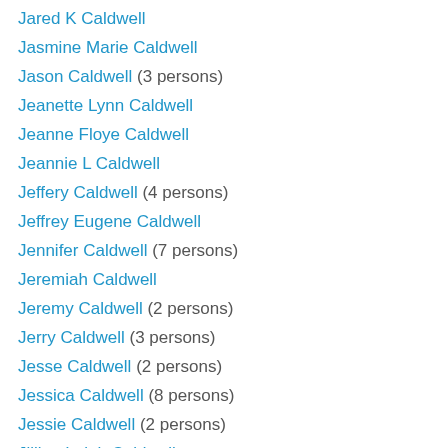Jared K Caldwell
Jasmine Marie Caldwell
Jason Caldwell (3 persons)
Jeanette Lynn Caldwell
Jeanne Floye Caldwell
Jeannie L Caldwell
Jeffery Caldwell (4 persons)
Jeffrey Eugene Caldwell
Jennifer Caldwell (7 persons)
Jeremiah Caldwell
Jeremy Caldwell (2 persons)
Jerry Caldwell (3 persons)
Jesse Caldwell (2 persons)
Jessica Caldwell (8 persons)
Jessie Caldwell (2 persons)
Jillian Leigh Caldwell
Jimmie Lee Caldwell
Jimmy Caldwell (3 persons)